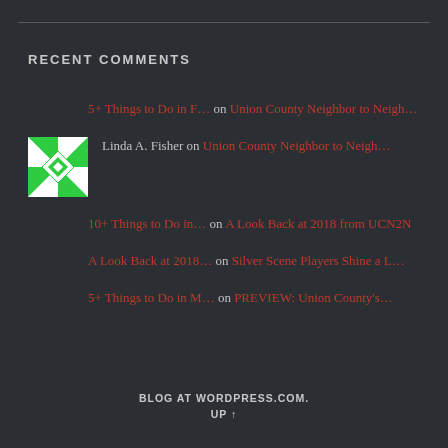RECENT COMMENTS
5+ Things to Do in F… on Union County Neighbor to Neigh…
Linda A. Fisher on Union County Neighbor to Neigh…
10+ Things to Do in… on A Look Back at 2018 from UCN2N
A Look Back at 2018… on Silver Scene Players Shine a L…
5+ Things to Do in M… on PREVIEW: Union County's…
BLOG AT WORDPRESS.COM.
UP ↑